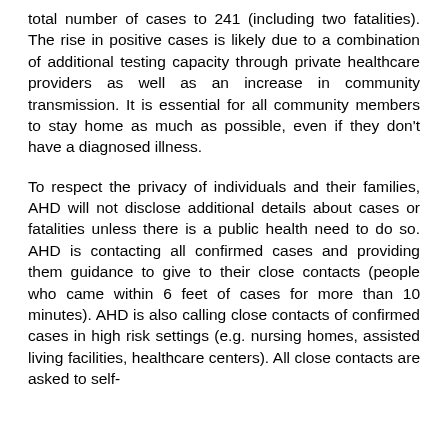total number of cases to 241 (including two fatalities). The rise in positive cases is likely due to a combination of additional testing capacity through private healthcare providers as well as an increase in community transmission. It is essential for all community members to stay home as much as possible, even if they don't have a diagnosed illness.
To respect the privacy of individuals and their families, AHD will not disclose additional details about cases or fatalities unless there is a public health need to do so. AHD is contacting all confirmed cases and providing them guidance to give to their close contacts (people who came within 6 feet of cases for more than 10 minutes). AHD is also calling close contacts of confirmed cases in high risk settings (e.g. nursing homes, assisted living facilities, healthcare centers). All close contacts are asked to self-